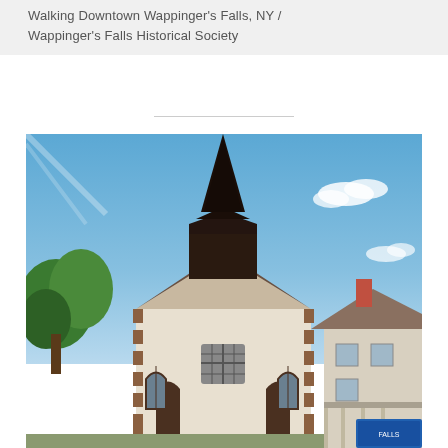Walking Downtown Wappinger's Falls, NY / Wappinger's Falls Historical Society
[Figure (photo): Outdoor photograph of a historic church building with a tall dark steeple/spire against a blue sky. The church has a white/cream stucco exterior with dark brown quoin corner details and arched windows. Trees are visible on the left side, and a neighboring house with a porch is visible on the right. A blue banner or sign is partially visible at bottom right.]